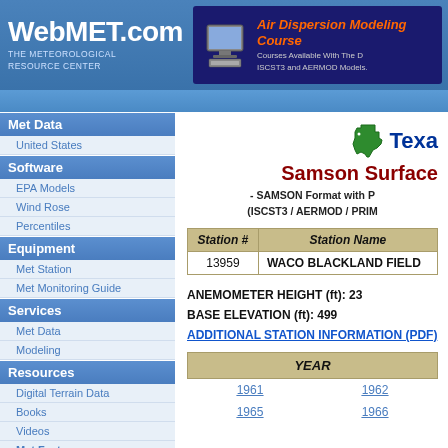WebMET.com - The Meteorological Resource Center
[Figure (screenshot): Air Dispersion Modeling Courses advertisement banner with computer icon]
Met Data
United States
Software
EPA Models
Wind Rose
Percentiles
Equipment
Met Station
Met Monitoring Guide
Services
Met Data
Modeling
Resources
Digital Terrain Data
Books
Videos
Met Facts
Forecast
Links
[Figure (logo): Texas state outline in green]
Samson Surface
- SAMSON Format with P
(ISCST3 / AERMOD / PRIM
| Station # | Station Name |
| --- | --- |
| 13959 | WACO BLACKLAND FIELD |
ANEMOMETER HEIGHT (ft): 23
BASE ELEVATION (ft): 499
ADDITIONAL STATION INFORMATION (PDF)
| YEAR |
| --- |
| 1961 | 1962 |
| 1965 | 1966 |